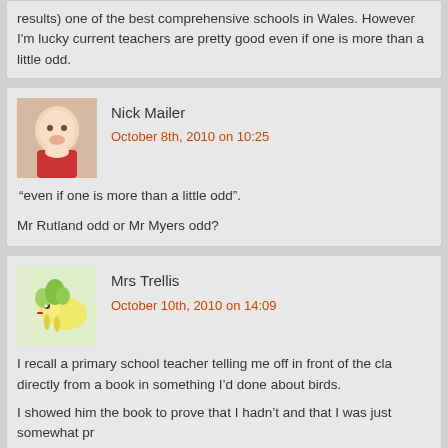results) one of the best comprehensive schools in Wales. However I'm lucky current teachers are pretty good even if one is more than a little odd.
Nick Mailer
October 8th, 2010 on 10:25
"even if one is more than a little odd".
Mr Rutland odd or Mr Myers odd?
Mrs Trellis
October 10th, 2010 on 14:09
I recall a primary school teacher telling me off in front of the cla directly from a book in something I'd done about birds.
I showed him the book to prove that I hadn't and that I was just somewhat pr
He was unimpressed with me.
Coombs